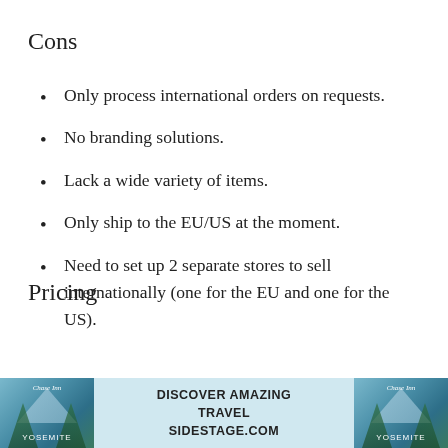Cons
Only process international orders on requests.
No branding solutions.
Lack a wide variety of items.
Only ship to the EU/US at the moment.
Need to set up 2 separate stores to sell internationally (one for the EU and one for the US).
Pricing
[Figure (photo): Advertisement banner for travel website sidestage.com with text 'DISCOVER AMAZING TRAVEL SIDESTAGE.COM' and images of Yosemite national park on each side]